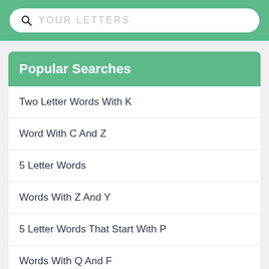YOUR LETTERS
Popular Searches
Two Letter Words With K
Word With C And Z
5 Letter Words
Words With Z And Y
5 Letter Words That Start With P
Words With Q And F
Words With X And Y